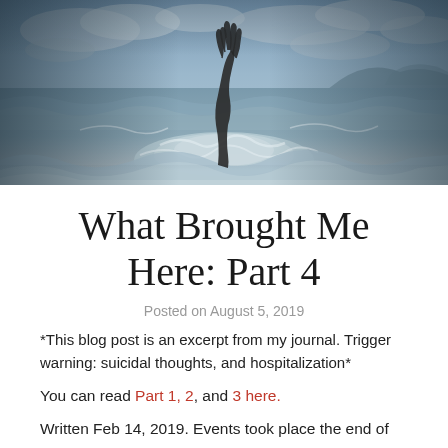[Figure (photo): A dramatic photo of a hand reaching up from rough ocean waves under a stormy sky]
What Brought Me Here: Part 4
Posted on August 5, 2019
*This blog post is an excerpt from my journal. Trigger warning: suicidal thoughts, and hospitalization*
You can read Part 1, 2, and 3 here.
Written Feb 14, 2019. Events took place the end of